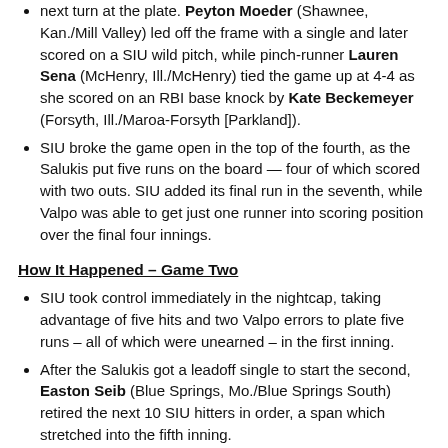next turn at the plate. Peyton Moeder (Shawnee, Kan./Mill Valley) led off the frame with a single and later scored on a SIU wild pitch, while pinch-runner Lauren Sena (McHenry, Ill./McHenry) tied the game up at 4-4 as she scored on an RBI base knock by Kate Beckemeyer (Forsyth, Ill./Maroa-Forsyth [Parkland]).
SIU broke the game open in the top of the fourth, as the Salukis put five runs on the board — four of which scored with two outs. SIU added its final run in the seventh, while Valpo was able to get just one runner into scoring position over the final four innings.
How It Happened – Game Two
SIU took control immediately in the nightcap, taking advantage of five hits and two Valpo errors to plate five runs – all of which were unearned – in the first inning.
After the Salukis got a leadoff single to start the second, Easton Seib (Blue Springs, Mo./Blue Springs South) retired the next 10 SIU hitters in order, a span which stretched into the fifth inning.
Valpo got on the board in its half of the third, as Regi Hecker (Lee's Summit, Mo./Blue Springs South) led off the inning with a single back up the middle and took advantage of a SIU